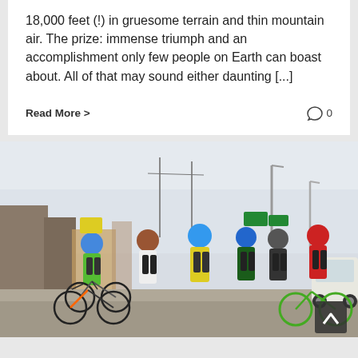18,000 feet (!) in gruesome terrain and thin mountain air. The prize: immense triumph and an accomplishment only few people on Earth can boast about. All of that may sound either daunting [...]
Read More >         0
[Figure (photo): Group of cyclists wearing helmets and colorful cycling gear standing with their mountain bikes on a road. Urban background with street lights and structures visible. Seven riders visible including people in green, white, yellow, dark green, black, and red jerseys.]